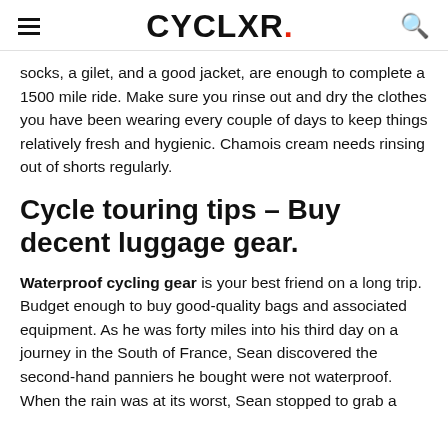CYCLXR.
socks, a gilet, and a good jacket, are enough to complete a 1500 mile ride. Make sure you rinse out and dry the clothes you have been wearing every couple of days to keep things relatively fresh and hygienic. Chamois cream needs rinsing out of shorts regularly.
Cycle touring tips – Buy decent luggage gear.
Waterproof cycling gear is your best friend on a long trip. Budget enough to buy good-quality bags and associated equipment. As he was forty miles into his third day on a journey in the South of France, Sean discovered the second-hand panniers he bought were not waterproof. When the rain was at its worst, Sean stopped to grab a